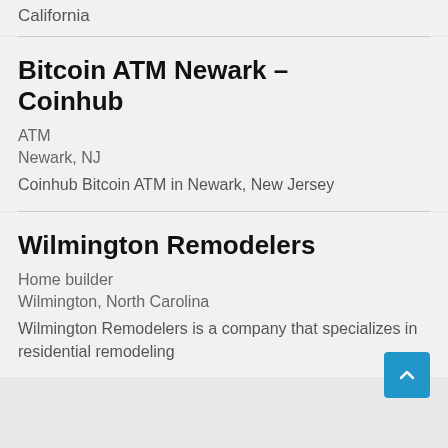California
Bitcoin ATM Newark – Coinhub
ATM
Newark, NJ
Coinhub Bitcoin ATM in Newark, New Jersey
Wilmington Remodelers
Home builder
Wilmington, North Carolina
Wilmington Remodelers is a company that specializes in residential remodeling